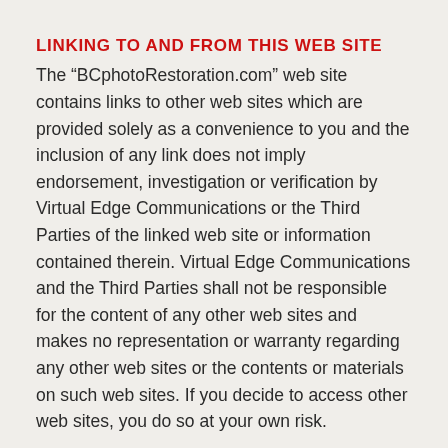LINKING TO AND FROM THIS WEB SITE
The “BCphotoRestoration.com” web site contains links to other web sites which are provided solely as a convenience to you and the inclusion of any link does not imply endorsement, investigation or verification by Virtual Edge Communications or the Third Parties of the linked web site or information contained therein. Virtual Edge Communications and the Third Parties shall not be responsible for the content of any other web sites and makes no representation or warranty regarding any other web sites or the contents or materials on such web sites. If you decide to access other web sites, you do so at your own risk.
. . . . . . . . . . . . . . . . .
Notice Of Privacy Practices